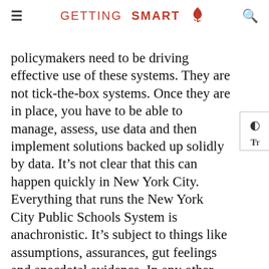GETTING SMART
policymakers need to be driving effective use of these systems. They are not tick-the-box systems. Once they are in place, you have to be able to manage, assess, use data and then implement solutions backed up solidly by data. It’s not clear that this can happen quickly in New York City. Everything that runs the New York City Public Schools System is anachronistic. It’s subject to things like assumptions, assurances, gut feelings and anecdotal evidence. In any other industry, people would not go for this. But somehow Teaching is sacred. Sacred to the point that it’s operating like a country that has never